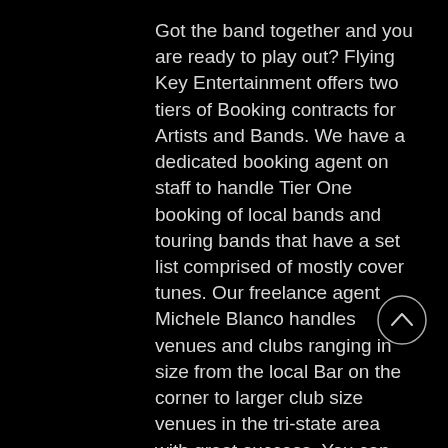Got the band together and you are ready to play out? Flying Key Entertainment offers two tiers of Booking contracts for Artists and Bands. We have a dedicated booking agent on staff to handle Tier One booking of local bands and touring bands that have a set list comprised of mostly cover tunes. Our freelance agent Michele Blanco handles venues and clubs ranging in size from the local Bar on the corner to larger club size venues in the tri-state area with great success. You can reach Michele at 203-364-7408.
For the up-and-coming original artist or national and international artist, Flying Key